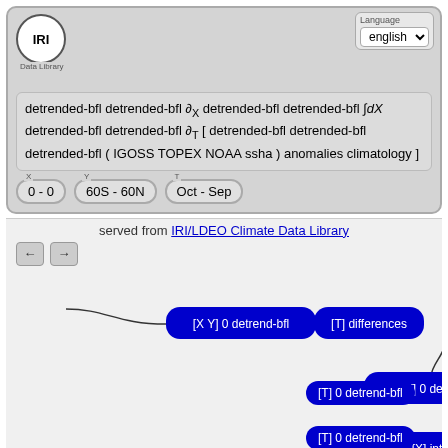[Figure (screenshot): IRI Data Library interface showing a formula with detrended-bfl operations and partial derivatives, with range selectors for X (0-0), Y (60S-60N), T (Oct-Sep), and a language selector set to English.]
served from IRI/LDEO Climate Data Library
[Figure (flowchart): Flowchart showing data processing pipeline: [X Y] 0 detrend-bfl -> [T] differences -> [Y T] 0 detrend-bfl -> 0.0 [X] integrate -> [Y] differences -> [T] 0 detrend-bfl -> [T] 0 detrend-bfl -> [X] partial (partially visible)]